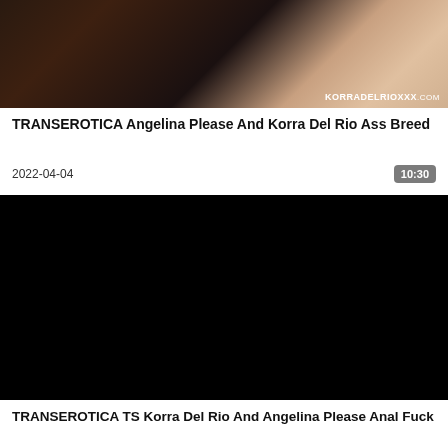[Figure (photo): Thumbnail image of adult content video, partially cropped, with KORRADELRIOXXX.com watermark in bottom right corner]
TRANSEROTICA Angelina Please And Korra Del Rio Ass Breed
2022-04-04
10:30
[Figure (photo): Black video player thumbnail/embed area]
TRANSEROTICA TS Korra Del Rio And Angelina Please Anal Fuck